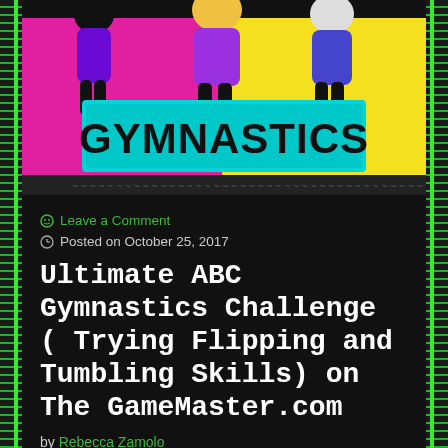[Figure (photo): Gymnastics header image with colorful pink and yellow background, gymnasts in costume, large teal text banner reading GYMNASTICS]
Leave a Comment
Posted on October 25, 2017
Ultimate ABC Gymnastics Challenge ( Trying Flipping and Tumbling Skills) on The GameMaster.com
by Rebecca Zamolo
Check out the latest spy hacker laser escape room video: https://youtu.be/32LFLjDk0Oo This ultimate ABC